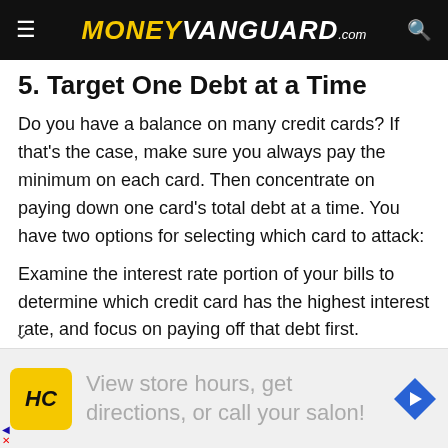MONEYVANGUARD.com
5. Target One Debt at a Time
Do you have a balance on many credit cards? If that's the case, make sure you always pay the minimum on each card. Then concentrate on paying down one card's total debt at a time. You have two options for selecting which card to attack:
Examine the interest rate portion of your bills to determine which credit card has the highest interest rate, and focus on paying off that debt first.
[Figure (other): Advertisement banner: HC logo, text 'View store hours, get directions, or call your salon!', blue diamond navigation arrow icon]